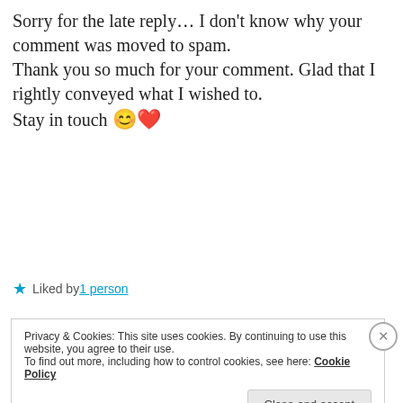Sorry for the late reply… I don't know why your comment was moved to spam. Thank you so much for your comment. Glad that I rightly conveyed what I wished to. Stay in touch 😊❤️
★ Liked by 1 person
REPLY
Pingback: Thank you for the award nominations! –
Privacy & Cookies: This site uses cookies. By continuing to use this website, you agree to their use. To find out more, including how to control cookies, see here: Cookie Policy Close and accept